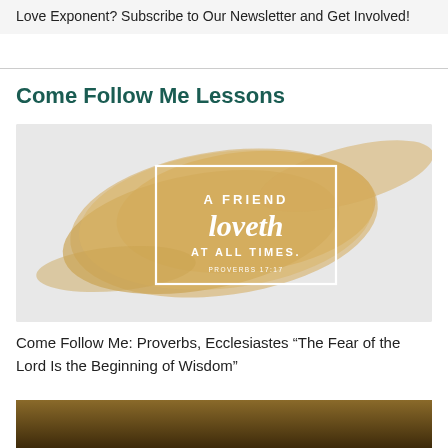Love Exponent? Subscribe to Our Newsletter and Get Involved!
Come Follow Me Lessons
[Figure (illustration): Gold brushstroke image with white text reading: A FRIEND loveth AT ALL TIMES. PROVERBS 17:17]
Come Follow Me: Proverbs, Ecclesiastes “The Fear of the Lord Is the Beginning of Wisdom”
[Figure (photo): Bottom partial photo, dark background with warm tones]